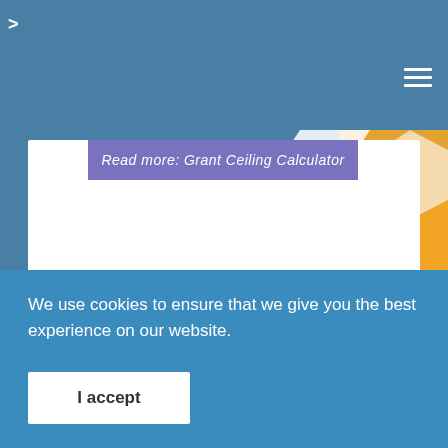>
Read more: Grant Ceiling Calculator
02 MAY,2011
Hits: 42003
Deadline for submission of Application
We use cookies to ensure that we give you the best experience on our website.
I accept